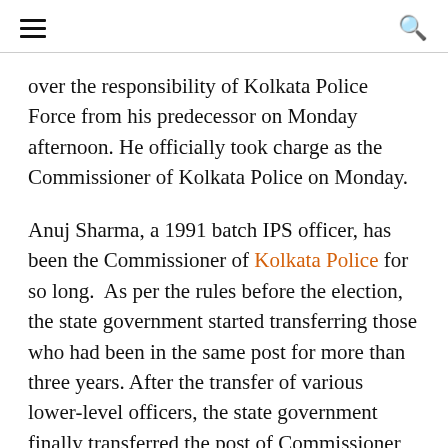☰  🔍
over the responsibility of Kolkata Police Force from his predecessor on Monday afternoon. He officially took charge as the Commissioner of Kolkata Police on Monday.
Anuj Sharma, a 1991 batch IPS officer, has been the Commissioner of Kolkata Police for so long.  As per the rules before the election, the state government started transferring those who had been in the same post for more than three years. After the transfer of various lower-level officers, the state government finally transferred the post of Commissioner of Police in Kolkata.
Anuj Sharma, who is known to be quite trusted by